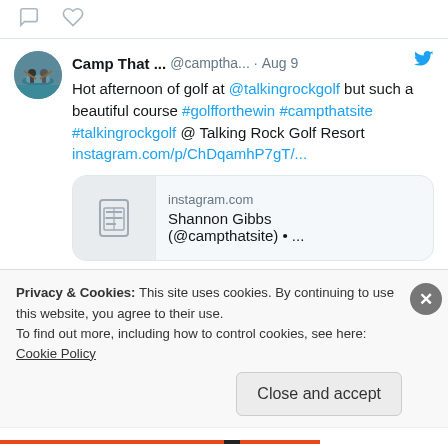[Figure (screenshot): Top of a Twitter/social media card showing two action icons (comment and heart) at the bottom of a previous tweet]
Camp That ... @camptha... · Aug 9
Hot afternoon of golf at @talkingrockgolf but such a beautiful course #golfforthewin #campthatsite #talkingrockgolf @ Talking Rock Golf Resort
instagram.com/p/ChDqamhP7gT/...
[Figure (screenshot): Instagram link preview card showing document icon, instagram.com domain, and text 'Shannon Gibbs (@campthatsite) • ...']
Privacy & Cookies: This site uses cookies. By continuing to use this website, you agree to their use.
To find out more, including how to control cookies, see here: Cookie Policy
Close and accept